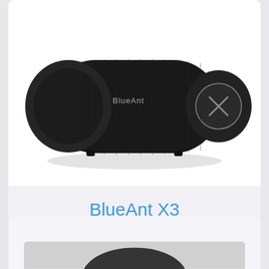[Figure (photo): BlueAnt X3 portable Bluetooth speaker in black, cylindrical shape with fabric grille, shown on white background]
BlueAnt X3
$229.00
Power Requirements: DC 5V 3A
Power Output:  15W*2(RMS)@10% THD
Total Max Power Output: 30W
[Figure (photo): Partial view of another product below, barely visible at bottom of page]